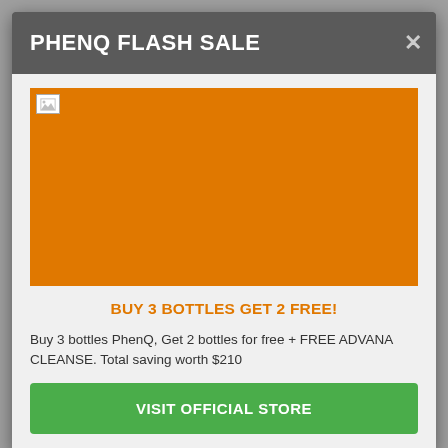Germany. There is one more address provided also on the Bauer-Nutrition main site for returns from
PHENQ FLASH SALE
[Figure (photo): Orange promotional banner image for PhenQ flash sale, shown as a broken image placeholder with an orange background]
BUY 3 BOTTLES GET 2 FREE!
Buy 3 bottles PhenQ, Get 2 bottles for free + FREE ADVANA CLEANSE. Total saving worth $210
VISIT OFFICIAL STORE